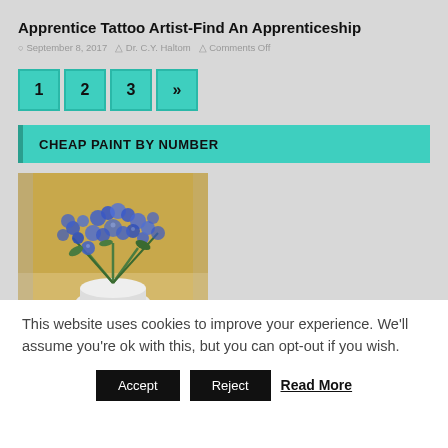Apprentice Tattoo Artist-Find An Apprenticeship
September 8, 2017  Dr. C.Y. Haltom  Comments Off
1
2
3
»
CHEAP PAINT BY NUMBER
[Figure (photo): Painting of blue flowers in a white vase against a golden/yellow background]
This website uses cookies to improve your experience. We'll assume you're ok with this, but you can opt-out if you wish.
Accept   Reject   Read More